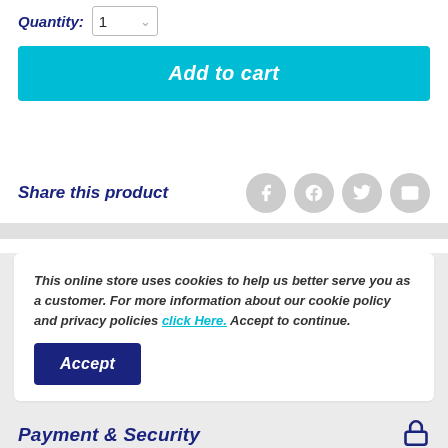Quantity: 1
Add to cart
Share this product
This online store uses cookies to help us better serve you as a customer. For more information about our cookie policy and privacy policies click Here. Accept to continue.
Accept
Payment & Security